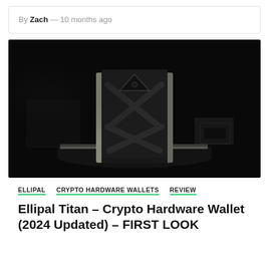By Zach — 10 months ago
[Figure (photo): Product photo of the Ellipal Titan crypto hardware wallet — a dark rectangular device with an X-pattern engraved on its back, standing upright on a reflective black surface against a black background. A smaller device is visible in the background to the right.]
ELLIPAL   CRYPTO HARDWARE WALLETS   REVIEW
Ellipal Titan – Crypto Hardware Wallet (2024 Updated) – FIRST LOOK